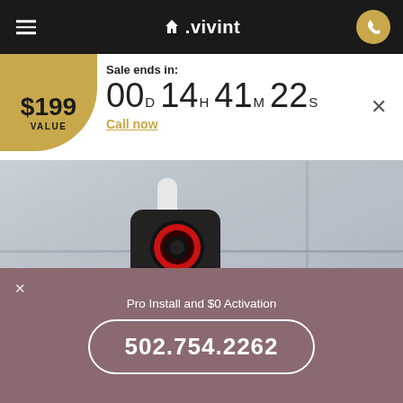Vivint
Sale ends in: 00D 14H 41M 22S
$199 VALUE
Call now
[Figure (photo): Vivint outdoor security camera mounted on a wall/door surface, black camera with red ring indicator light on a white mount arm]
Pro Install and $0 Activation
502.754.2262